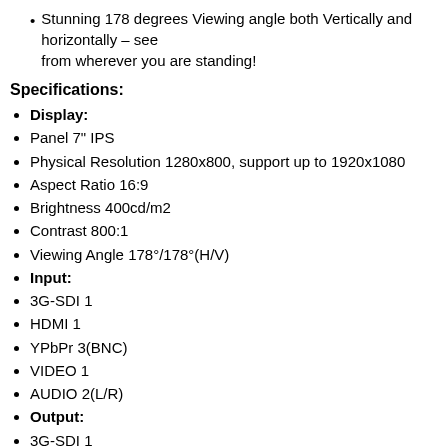Stunning 178 degrees Viewing angle both Vertically and horizontally – see from wherever you are standing!
Specifications:
Display:
Panel 7" IPS
Physical Resolution 1280x800, support up to 1920x1080
Aspect Ratio 16:9
Brightness 400cd/m2
Contrast 800:1
Viewing Angle 178°/178°(H/V)
Input:
3G-SDI 1
HDMI 1
YPbPr 3(BNC)
VIDEO 1
AUDIO 2(L/R)
Output:
3G-SDI 1
HDMI 1
Audio:
Speaker 1 (built-in)
Ear Phone Slot 1
Power:
Current 900mA